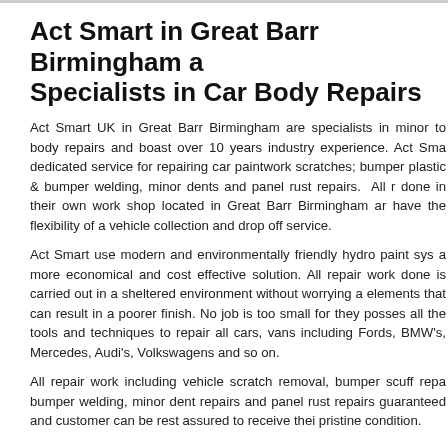Act Smart in Great Barr Birmingham are Specialists in Car Body Repairs
Act Smart UK in Great Barr Birmingham are specialists in minor to body repairs and boast over 10 years industry experience. Act Smart dedicated service for repairing car paintwork scratches; bumper plastic & bumper welding, minor dents and panel rust repairs. All repair done in their own work shop located in Great Barr Birmingham and have the flexibility of a vehicle collection and drop off service.
Act Smart use modern and environmentally friendly hydro paint systems a more economical and cost effective solution. All repair work done is carried out in a sheltered environment without worrying about elements that can result in a poorer finish. No job is too small for them, they posses all the tools and techniques to repair all cars, vans including Fords, BMW's, Mercedes, Audi's, Volkswagens and so on.
All repair work including vehicle scratch removal, bumper scuff repair, bumper welding, minor dent repairs and panel rust repairs are guaranteed and customer can be rest assured to receive their car in pristine condition.